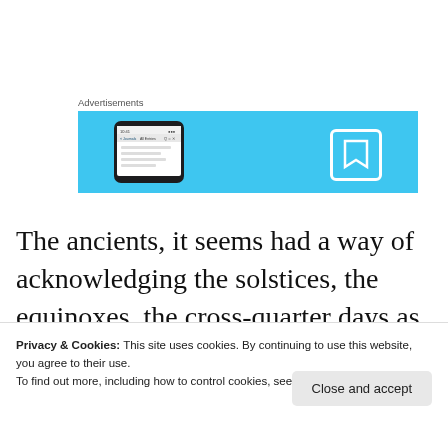Advertisements
[Figure (screenshot): Advertisement banner with blue background showing a smartphone and a bookmark icon]
The ancients, it seems had a way of acknowledging the solstices, the equinoxes, the cross-quarter days as portals of movement around the wheel of the year – the seasons
Privacy & Cookies: This site uses cookies. By continuing to use this website, you agree to their use.
To find out more, including how to control cookies, see here: Cookie Policy
Close and accept